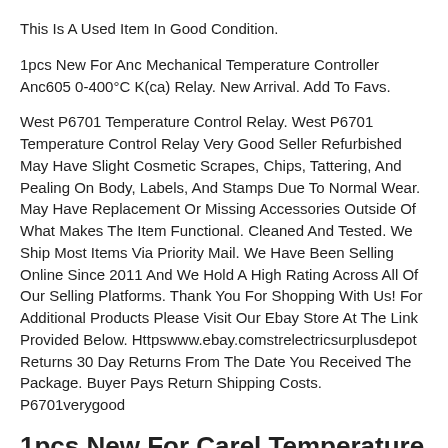This Is A Used Item In Good Condition.
1pcs New For Anc Mechanical Temperature Controller Anc605 0-400°C K(ca) Relay. New Arrival. Add To Favs.
West P6701 Temperature Control Relay. West P6701 Temperature Control Relay Very Good Seller Refurbished May Have Slight Cosmetic Scrapes, Chips, Tattering, And Pealing On Body, Labels, And Stamps Due To Normal Wear. May Have Replacement Or Missing Accessories Outside Of What Makes The Item Functional. Cleaned And Tested. We Ship Most Items Via Priority Mail. We Have Been Selling Online Since 2011 And We Hold A High Rating Across All Of Our Selling Platforms. Thank You For Shopping With Us! For Additional Products Please Visit Our Ebay Store At The Link Provided Below. Httpswww.ebay.comstrelectricsurplusdepot Returns 30 Day Returns From The Date You Received The Package. Buyer Pays Return Shipping Costs. P6701verygood
1pcs New For Carel Temperature Controller Mch2000031
We Apply Comprehensive Quality Check And Testing Before Dispatching.
Partlow 2110001 Mic 2000 C218027 Process Controller Inp 115vac Relay Out 115vac